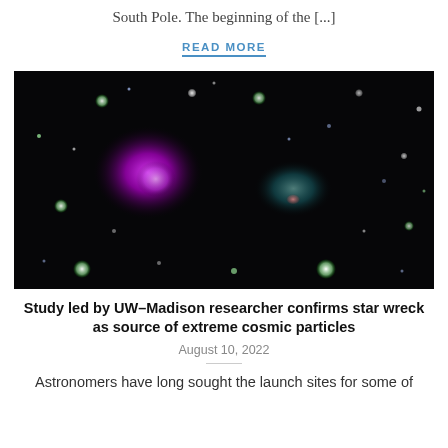South Pole. The beginning of the [...]
READ MORE
[Figure (photo): Astronomical X-ray/optical composite image showing a galaxy cluster collision with bright magenta/purple glowing regions against a black space background, with scattered green and white star points.]
Study led by UW–Madison researcher confirms star wreck as source of extreme cosmic particles
August 10, 2022
Astronomers have long sought the launch sites for some of